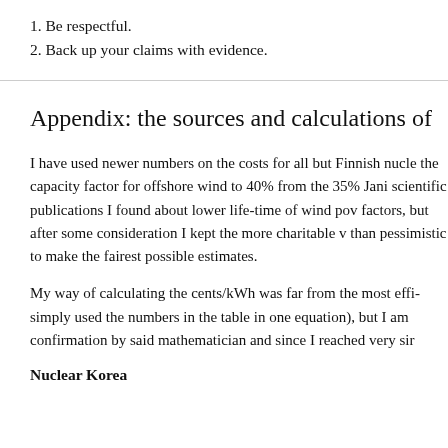1. Be respectful.
2. Back up your claims with evidence.
Appendix: the sources and calculations of
I have used newer numbers on the costs for all but Finnish nucle- the capacity factor for offshore wind to 40% from the 35% Jani- scientific publications I found about lower life-time of wind pow- factors, but after some consideration I kept the more charitable v- than pessimistic to make the fairest possible estimates.
My way of calculating the cents/kWh was far from the most effi- simply used the numbers in the table in one equation), but I am confirmation by said mathematician and since I reached very sir-
Nuclear Korea